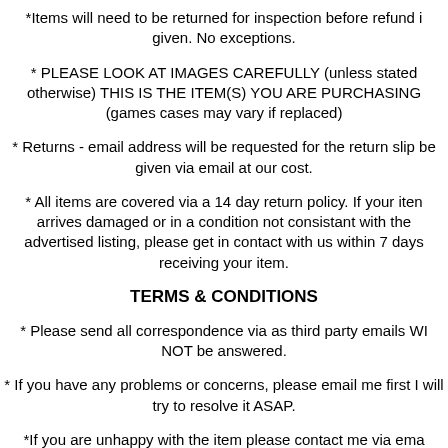*Items will need to be returned for inspection before refund is given. No exceptions.
* PLEASE LOOK AT IMAGES CAREFULLY (unless stated otherwise) THIS IS THE ITEM(S) YOU ARE PURCHASING (games cases may vary if replaced)
* Returns - email address will be requested for the return slip be given via email at our cost.
* All items are covered via a 14 day return policy. If your item arrives damaged or in a condition not consistant with the advertised listing, please get in contact with us within 7 days receiving your item.
TERMS & CONDITIONS
* Please send all correspondence via as third party emails WI NOT be answered.
* If you have any problems or concerns, please email me first I will try to resolve it ASAP.
*If you are unhappy with the item please contact me via ema before leaving response.